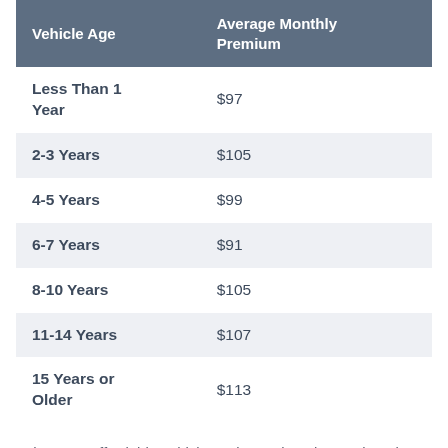| Vehicle Age | Average Monthly Premium |
| --- | --- |
| Less Than 1 Year | $97 |
| 2-3 Years | $105 |
| 4-5 Years | $99 |
| 6-7 Years | $91 |
| 8-10 Years | $105 |
| 11-14 Years | $107 |
| 15 Years or Older | $113 |
The most affordable vehicles to insure in Lakewood are by and large trucks and vans, which run about $98 per month.